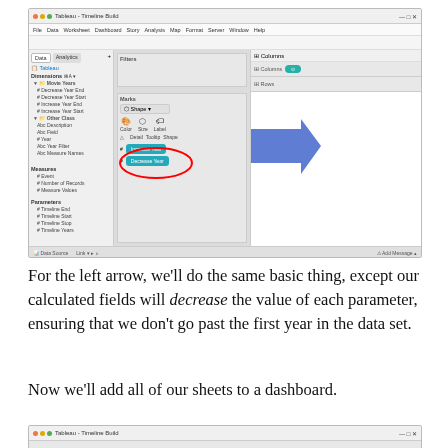[Figure (screenshot): Screenshot of Tableau - Timeline Build application window showing the Tableau interface with data panel on the left listing Dimensions (Movie Years: Decrease Year End, Decrease Year Start, Increase Year End, Increase Year Start; Other Class: Description, Field, Year, Year Filter, Measure Names), Measures (Event, Number of Records, Measure Values), Parameters (Timeline End, Timeline Start, Timeline Stop, Timeline Years). Center shows Filters and Marks sections with Increase Year and Decrease Year calculated fields highlighted in a red circle. A large blue right-pointing arrow is visible to the right of the circle. The right side shows Columns and Rows shelf with a teal pill.]
For the left arrow, we’ll do the same basic thing, except our calculated fields will decrease the value of each parameter, ensuring that we don’t go past the first year in the data set.
Now we’ll add all of our sheets to a dashboard.
[Figure (screenshot): Partial screenshot of Tableau - Timeline Build application window showing the title bar.]